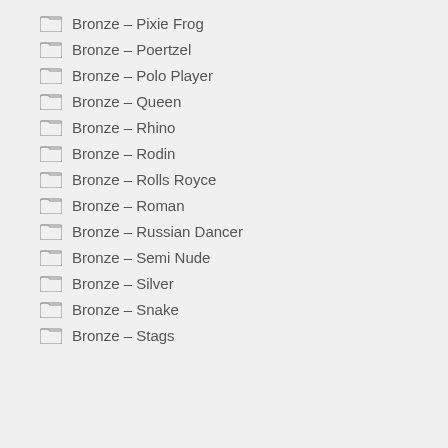Bronze – Pixie Frog
Bronze – Poertzel
Bronze – Polo Player
Bronze – Queen
Bronze – Rhino
Bronze – Rodin
Bronze – Rolls Royce
Bronze – Roman
Bronze – Russian Dancer
Bronze – Semi Nude
Bronze – Silver
Bronze – Snake
Bronze – Stags